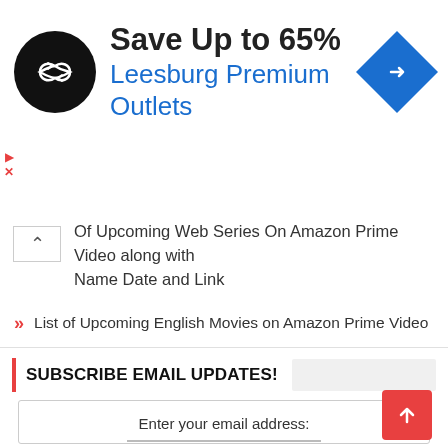[Figure (infographic): Advertisement banner for Leesburg Premium Outlets showing a black circular logo with arrows, text 'Save Up to 65%' and 'Leesburg Premium Outlets' in blue, and a blue diamond navigation icon on the right. Small play and close controls on left edge.]
Of Upcoming Web Series On Amazon Prime Video along with Name Date and Link
List of Upcoming English Movies on Amazon Prime Video
SUBSCRIBE EMAIL UPDATES!
Enter your email address:
Subscribe